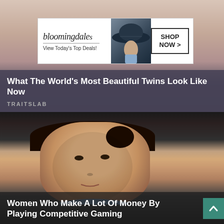[Figure (photo): Advertisement banner for Bloomingdales with logo text 'bloomingdales', tagline 'View Today's Top Deals!', model wearing wide-brim hat, and 'SHOP NOW >' button; overlaid on blurred photo of twin women faces]
What The World's Most Beautiful Twins Look Like Now
TRAITSLAB
[Figure (photo): Photo of a young woman with dark hair pulled back, wearing blue shirt, looking seriously at a screen in a dark gaming environment]
Women Who Make A Lot Of Money By Playing Competitive Gaming